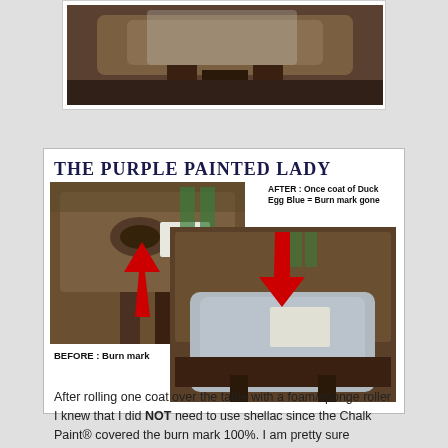[Figure (photo): Top portion of a dark wooden table with pedestal base, shown from above, partially cropped]
[Figure (infographic): The Purple Painted Lady branded infographic showing BEFORE (burn mark on wooden table) and AFTER (one coat of Duck Egg Blue chalk paint covering burn mark) comparison photos with red arrows pointing to the area. Before label: 'BEFORE : Burn mark'. After label: 'AFTER : Once coat of Duck Egg Blue = Burn mark gone']
After rolling one coat over the table with a foam/sponge roller I knew that I did NOT need to use shellac since the Chalk Paint® covered the burn mark 100%. I am pretty sure though, if I had used Old White Chalk Paint® or Pure